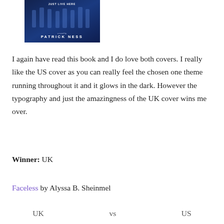[Figure (photo): Book cover of a novel by Patrick Ness with dark blue background showing silhouetted figures and the text 'JUST LIVE HERE' at the top and 'PATRICK NESS' in bold letters.]
I again have read this book and I do love both covers. I really like the US cover as you can really feel the chosen one theme running throughout it and it glows in the dark. However the typography and just the amazingness of the UK cover wins me over.
Winner: UK
Faceless by Alyssa B. Sheinmel
UK vs US